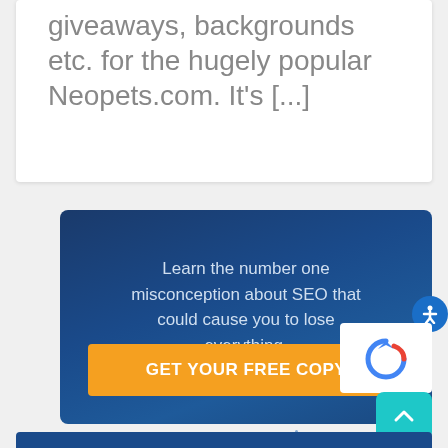giveaways, backgrounds etc. for the hugely popular Neopets.com. It's [...]
[Figure (infographic): Dark blue banner with promotional text and orange CTA button reading GET YOUR FREE COPY. Text reads: Learn the number one misconception about SEO that could cause you to lose everything.]
Learn the number one misconception about SEO that could cause you to lose everything.
GET YOUR FREE COPY